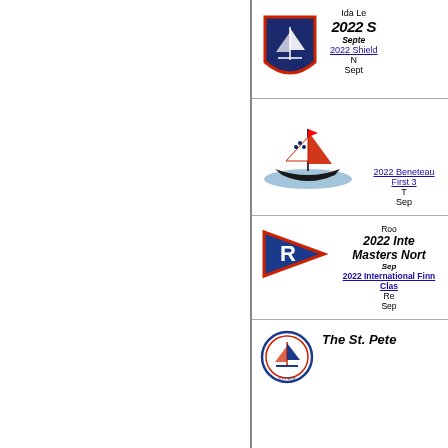[Figure (logo): Shield logo with sailboat, red border, dark blue background]
Ida Le...
2022 S...
Septe...
2022 Shield...
N...
Sept...
[Figure (logo): Colorful sailing regatta logo with boat and flags]
2022 Beneteau First 3...
T...
Sep...
[Figure (logo): Red and blue pennant flag with R letter]
Roo...
2022 Inte...
Masters Nort...
Sep...
2022 International Finn Clas...
Re...
Sep...
[Figure (logo): St. Petersburg Yacht Club circular logo]
The St. Pete...